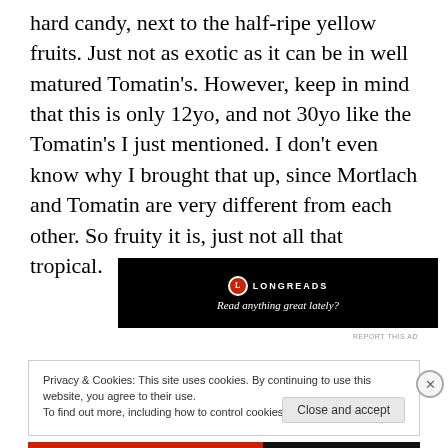hard candy, next to the half-ripe yellow fruits. Just not as exotic as it can be in well matured Tomatin's. However, keep in mind that this is only 12yo, and not 30yo like the Tomatin's I just mentioned. I don't even know why I brought that up, since Mortlach and Tomatin are very different from each other. So fruity it is, just not all that tropical.
[Figure (other): Longreads advertisement banner on black background with logo and tagline 'Read anything great lately?']
Privacy & Cookies: This site uses cookies. By continuing to use this website, you agree to their use. To find out more, including how to control cookies, see here: Cookie Policy